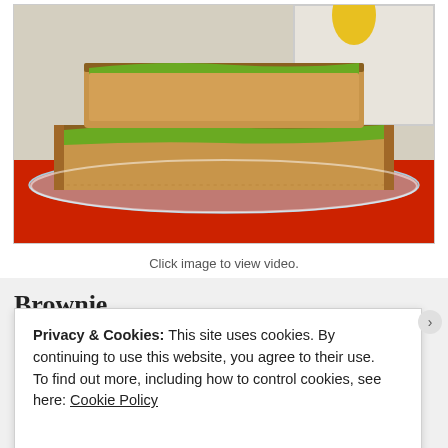[Figure (photo): Photo of stacked brownie slices with green matcha glaze on a glass plate, on a red background]
Click image to view video.
Brownie
Privacy & Cookies: This site uses cookies. By continuing to use this website, you agree to their use.
To find out more, including how to control cookies, see here: Cookie Policy